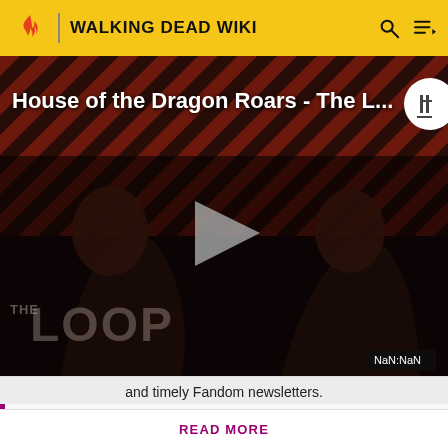WALKING DEAD WIKI
[Figure (screenshot): Video thumbnail showing 'House of the Dragon Roars - The L...' with The Loop branding, dark background with diagonal red/dark stripes, two figures silhouetted, play button in center, NaN:NaN time display]
and timely Fandom newsletters.
Attention! Please be aware that spoilers are not allowed on the wiki and a violation of this policy may result in a ban.
READ MORE